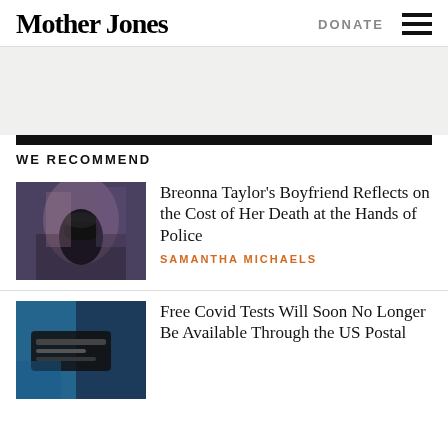Mother Jones | DONATE
[Figure (other): Advertisement banner area, light gray background]
WE RECOMMEND
[Figure (photo): Man in black cap standing in front of a colorful mural portrait]
Breonna Taylor's Boyfriend Reflects on the Cost of Her Death at the Hands of Police
SAMANTHA MICHAELS
[Figure (photo): Close-up of gloved hand holding a Covid rapid test]
Free Covid Tests Will Soon No Longer Be Available Through the US Postal